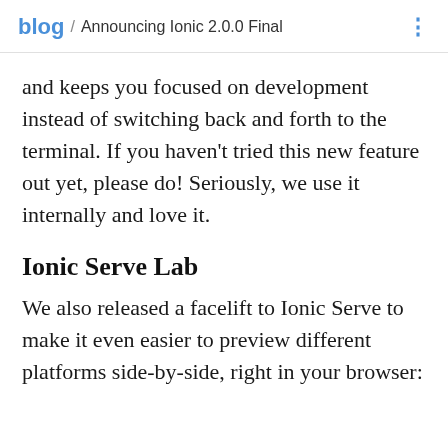blog / Announcing Ionic 2.0.0 Final
and keeps you focused on development instead of switching back and forth to the terminal. If you haven’t tried this new feature out yet, please do! Seriously, we use it internally and love it.
Ionic Serve Lab
We also released a facelift to Ionic Serve to make it even easier to preview different platforms side-by-side, right in your browser: